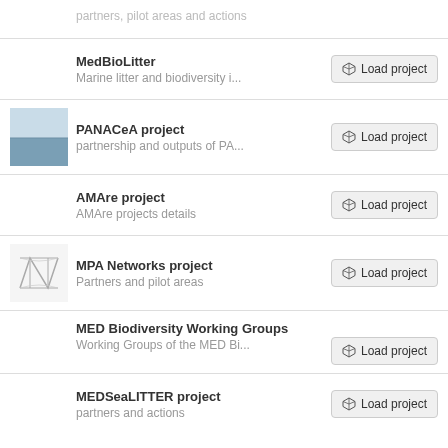partners, pilot areas and actions
MedBioLitter
Marine litter and biodiversity i...
PANACeA project
partnership and outputs of PA...
AMAre project
AMAre projects details
MPA Networks project
Partners and pilot areas
MED Biodiversity Working Groups
Working Groups of the MED Bi...
MEDSeaLITTER project
partners and actions